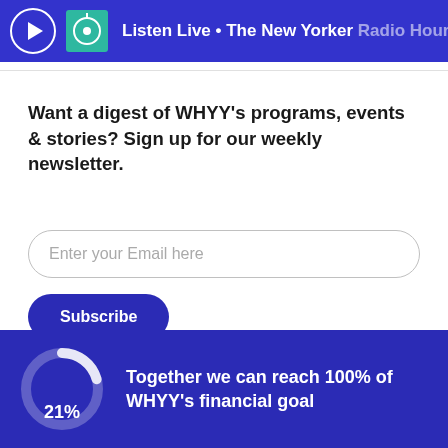Listen Live • The New Yorker Radio Hour
Want a digest of WHYY's programs, events & stories? Sign up for our weekly newsletter.
Enter your Email here
Subscribe
[Figure (infographic): Donut/arc chart showing 21% progress in blue on dark blue background]
Together we can reach 100% of WHYY's financial goal